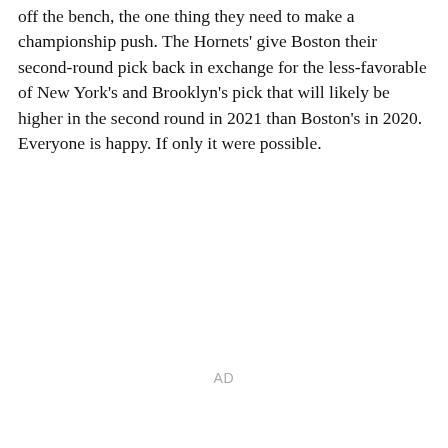off the bench, the one thing they need to make a championship push. The Hornets' give Boston their second-round pick back in exchange for the less-favorable of New York's and Brooklyn's pick that will likely be higher in the second round in 2021 than Boston's in 2020. Everyone is happy. If only it were possible.
AD